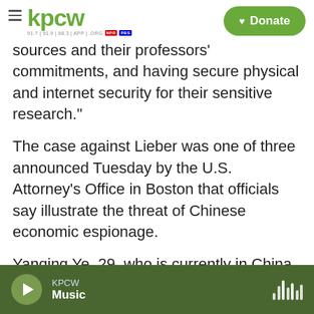KPCW — Donate
sources and their professors' commitments, and having secure physical and internet security for their sensitive research."
The case against Lieber was one of three announced Tuesday by the U.S. Attorney's Office in Boston that officials say illustrate the threat of Chinese economic espionage.
Yanqing Ye, 29, who is currently in China, is charged with one count each of "visa fraud, making false statements, acting as an agent of a foreign government and conspiracy." She had been working at Boston University and is accused of
KPCW — Music